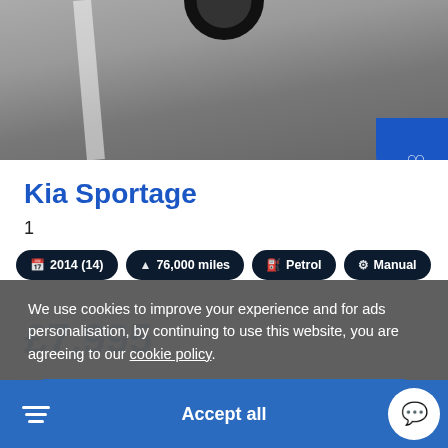[Figure (photo): Partial view of a car from below/road level, showing wheels on asphalt road surface]
Kia Sportage
1
2014 (14)  76,000 miles  Petrol  Manual
£7,995
We use cookies to improve your experience and for ads personalisation, by continuing to use this website, you are agreeing to our cookie policy.
Settings
Accept all